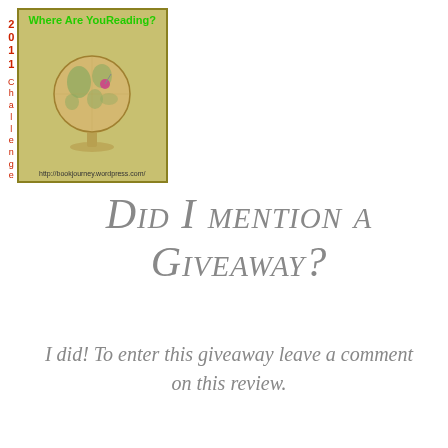[Figure (logo): Where Are You Reading? 2011 Challenge logo with a globe on a stand, green text header, and URL http://bookjourney.wordpress.com/]
Did I mention a Giveaway?
I did! To enter this giveaway leave a comment on this review.